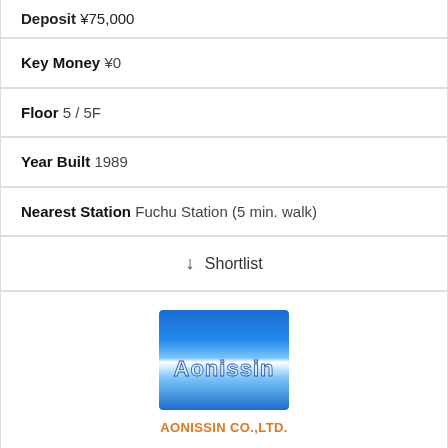Deposit ¥75,000
Key Money ¥0
Floor 5 / 5F
Year Built 1989
Nearest Station Fuchu Station (5 min. walk)
↓ Shortlist
[Figure (logo): Aonissin company logo - blue gradient square with white text 'Aonissin']
AONISSIN CO.,LTD.
[Figure (photo): Exterior photo of a multi-story building with beige/cream facade]